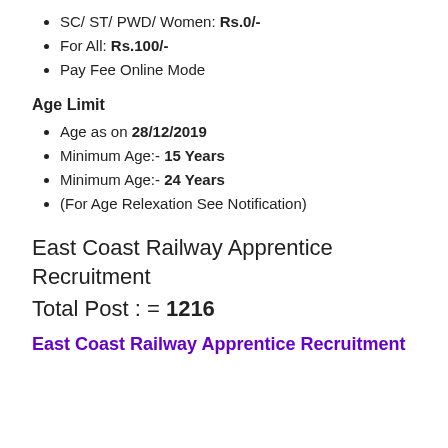SC/ ST/ PWD/ Women: Rs.0/-
For All: Rs.100/-
Pay Fee Online Mode
Age Limit
Age as on 28/12/2019
Minimum Age:- 15 Years
Minimum Age:- 24 Years
(For Age Relexation See Notification)
East Coast Railway Apprentice Recruitment
Total Post : = 1216
East Coast Railway Apprentice Recruitment